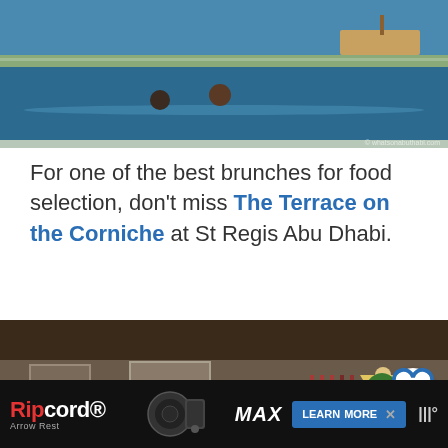[Figure (photo): Pool scene with people swimming, boats in background, blue water]
For one of the best brunches for food selection, don't miss The Terrace on the Corniche at St Regis Abu Dhabi.
[Figure (photo): Elaborate indoor buffet spread with many food items on long tables, restaurant interior with warm lighting]
WHAT'S NEXT → Discover Darwin...
[Figure (photo): Advertisement banner: Ripcord Arrow Rest MAX - LEARN MORE]